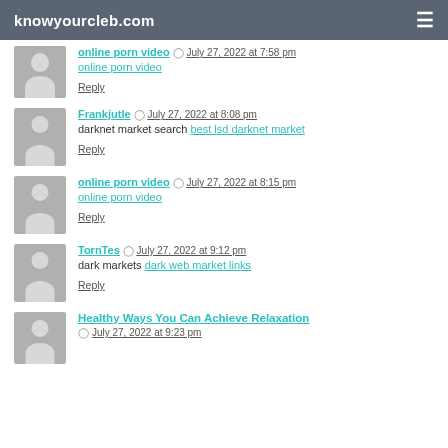knowyourcleb.com
online porn video — July 27, 2022 at 7:58 pm — online porn video — Reply
Frankjutle — July 27, 2022 at 8:08 pm — darknet market search best lsd darknet market — Reply
online porn video — July 27, 2022 at 8:15 pm — online porn video — Reply
TornTes — July 27, 2022 at 9:12 pm — dark markets dark web market links — Reply
Healthy Ways You Can Achieve Relaxation — July 27, 2022 at 9:23 pm